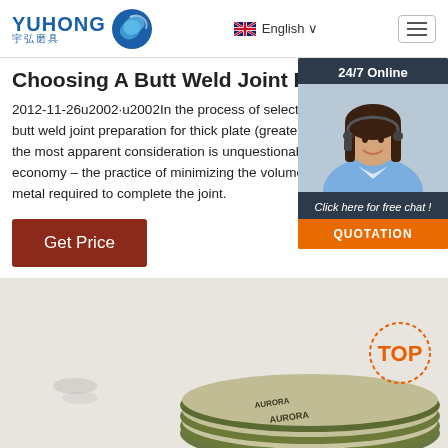YUHONG 宇弘磨具 | English | Menu
Choosing A Butt Weld Joint Preparation
2012-11-26u2002·u2002In the process of selecting a suitable butt weld joint preparation for thick plate (greater than 1 in), the most apparent consideration is unquestionably the joint economy – the practice of minimizing the volume of weld metal required to complete the joint.
[Figure (screenshot): 24/7 Online chat widget with female customer service representative and QUOTATION button]
[Figure (photo): Stack of green and white grinding/abrasive discs labeled AURORA, with a TOP badge in the corner]